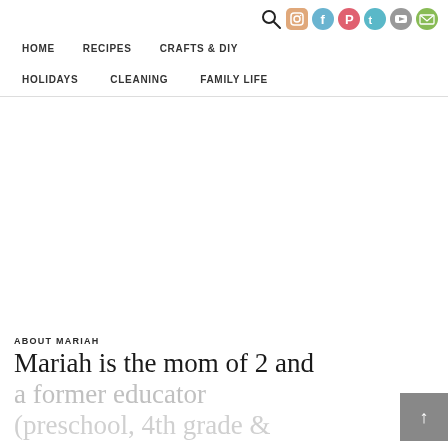HOME  RECIPES  CRAFTS & DIY  HOLIDAYS  CLEANING  FAMILY LIFE
[Figure (other): Social media icons: search, instagram, facebook, pinterest, twitter, youtube, email]
ABOUT MARIAH
Mariah is the mom of 2 and a former educator (preschool, 4th grade &...